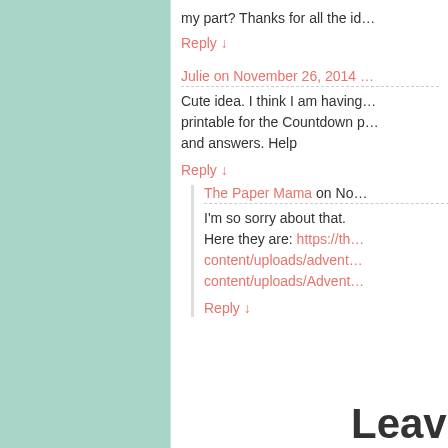my part? Thanks for all the id…
Reply ↓
Julie on November 26, 2014
Cute idea. I think I am having… printable for the Countdown p… and answers. Help
Reply ↓
The Paper Mama on No…
I'm so sorry about that. Here they are: https://th… content/uploads/advent… content/uploads/Advent…
Reply ↓
Leave a comm…